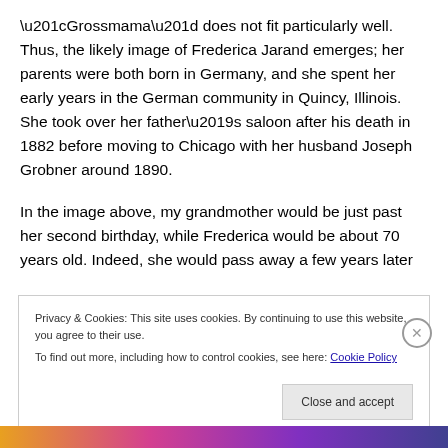“Grossmama” does not fit particularly well. Thus, the likely image of Frederica Jarand emerges; her parents were both born in Germany, and she spent her early years in the German community in Quincy, Illinois. She took over her father’s saloon after his death in 1882 before moving to Chicago with her husband Joseph Grobner around 1890.

In the image above, my grandmother would be just past her second birthday, while Frederica would be about 70 years old. Indeed, she would pass away a few years later
Privacy & Cookies: This site uses cookies. By continuing to use this website, you agree to their use.
To find out more, including how to control cookies, see here: Cookie Policy
Close and accept